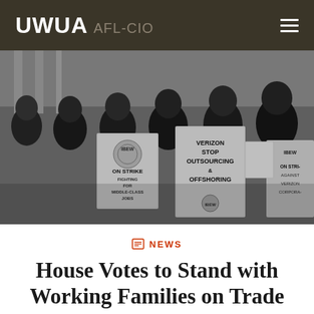UWUA AFL-CIO
[Figure (photo): Black and white photo of workers on strike holding IBEW signs reading 'ON STRIKE FIGHTING FOR MIDDLE-CLASS JOBS', 'VERIZON STOP OUTSOURCING & OFFSHORING IBEW', and 'IBEW ON STRIKE AGAINST VERIZON CORPORATE']
NEWS
House Votes to Stand with Working Families on Trade